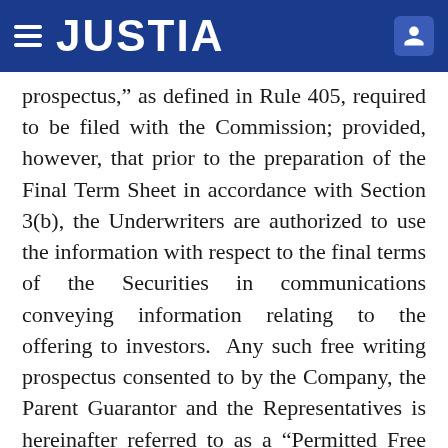JUSTIA
prospectus," as defined in Rule 405, required to be filed with the Commission; provided, however, that prior to the preparation of the Final Term Sheet in accordance with Section 3(b), the Underwriters are authorized to use the information with respect to the final terms of the Securities in communications conveying information relating to the offering to investors.  Any such free writing prospectus consented to by the Company, the Parent Guarantor and the Representatives is hereinafter referred to as a “Permitted Free Writing Prospectus.” The Company and the Parent Guarantor represent that they have treated or agree that they will treat each Permitted Free Writing Prospectus as an “issuer free writing prospectus,” as defined in Rule 433, and has complied and will comply with the requirements of Rule 433 applicable to any Permitted Free Writing Prospectus, including timely filing with the Commission